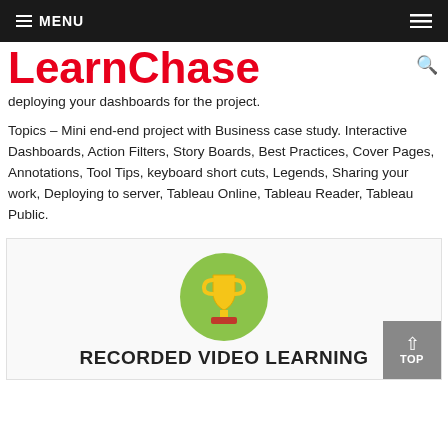MENU
LearnChase
deploying your dashboards for the project.
Topics – Mini end-end project with Business case study. Interactive Dashboards, Action Filters, Story Boards, Best Practices, Cover Pages, Annotations, Tool Tips, keyboard short cuts, Legends, Sharing your work, Deploying to server, Tableau Online, Tableau Reader, Tableau Public.
[Figure (illustration): Green circle with a gold trophy icon inside, representing achievement or certification.]
RECORDED VIDEO LEARNING